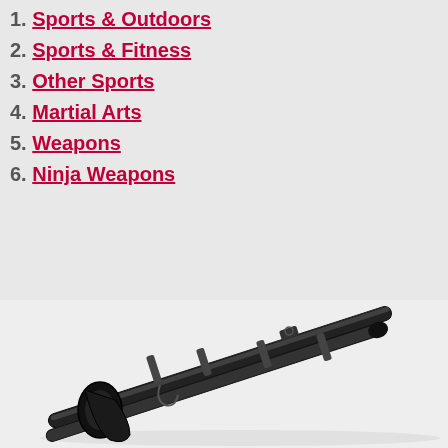1. Sports & Outdoors
2. Sports & Fitness
3. Other Sports
4. Martial Arts
5. Weapons
6. Ninja Weapons
Pistol Grip and Peep Site Tactical Mount Sling 8 Spike Darts 24 .40 Caliber Tactical Blowgun with 10 Spear Darts
40 Caliber Tactical Blowgun with 10 Spear Darts Sling Hot pin break out Style Tactical Mount : 24" Pistol Grip and Peep Site (Black) : Sports & Outdoors Enjoy low warehouse prices on name-brands products. 8 Spike Darts
[Figure (photo): Tactical blowgun with pistol grip and peep site, shown at an angle on grey background]